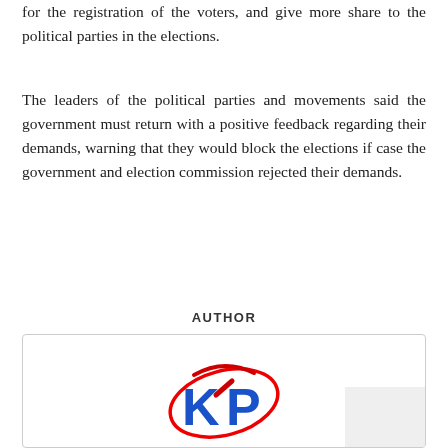for the registration of the voters, and give more share to the political parties in the elections.
The leaders of the political parties and movements said the government must return with a positive feedback regarding their demands, warning that they would block the elections if case the government and election commission rejected their demands.
AUTHOR
[Figure (logo): Khaama Press logo with red and blue stylized KP letters]
Khaama Press
The Khaama Press News Agency is the leading and largest English news service